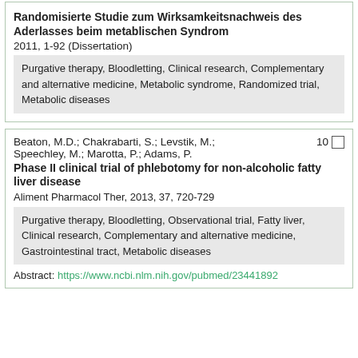Randomisierte Studie zum Wirksamkeitsnachweis des Aderlasses beim metablischen Syndrom
2011, 1-92 (Dissertation)
Purgative therapy, Bloodletting, Clinical research, Complementary and alternative medicine, Metabolic syndrome, Randomized trial, Metabolic diseases
Beaton, M.D.; Chakrabarti, S.; Levstik, M.; Speechley, M.; Marotta, P.; Adams, P.
Phase II clinical trial of phlebotomy for non-alcoholic fatty liver disease
Aliment Pharmacol Ther, 2013, 37, 720-729
Purgative therapy, Bloodletting, Observational trial, Fatty liver, Clinical research, Complementary and alternative medicine, Gastrointestinal tract, Metabolic diseases
Abstract: https://www.ncbi.nlm.nih.gov/pubmed/23441892